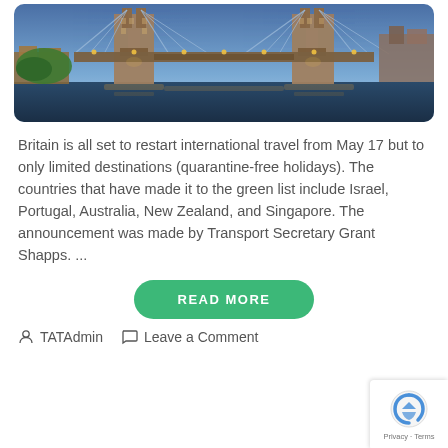[Figure (photo): Tower Bridge London illuminated at dusk with city lights reflecting on the Thames river, blue sky background]
Britain is all set to restart international travel from May 17 but to only limited destinations (quarantine-free holidays). The countries that have made it to the green list include Israel, Portugal, Australia, New Zealand, and Singapore. The announcement was made by Transport Secretary Grant Shapps. ...
READ MORE
TATAdmin   Leave a Comment